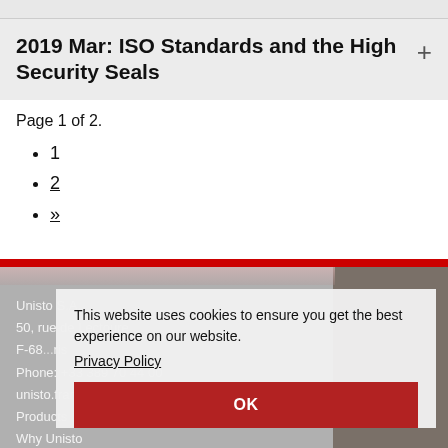2019 Mar: ISO Standards and the High Security Seals
Page 1 of 2.
1
2
»
Unisto S.A.
50, rue de Lectoure
F-68... Paris
Phone: +33 389 70 44 00
unisto.france@unisto.co
Products
Why Unisto
Certificates
This website uses cookies to ensure you get the best experience on our website. Privacy Policy OK